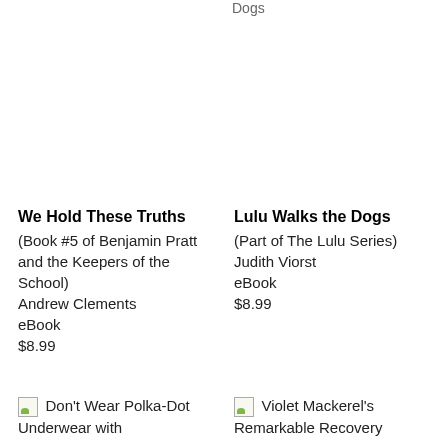Dogs
We Hold These Truths
(Book #5 of Benjamin Pratt and the Keepers of the School)
Andrew Clements
eBook
$8.99
Lulu Walks the Dogs
(Part of The Lulu Series)
Judith Viorst
eBook
$8.99
[Figure (other): Partial book cover image for Don't Wear Polka-Dot Underwear with (text cut off)]
Don't Wear Polka-Dot Underwear with
[Figure (other): Partial book cover image for Violet Mackerel's Remarkable Recovery]
Violet Mackerel's Remarkable Recovery